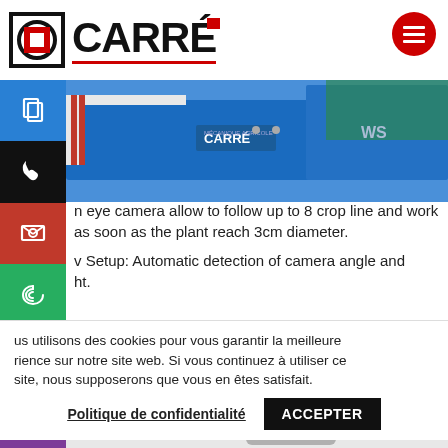[Figure (logo): CARRÉ company logo with square icon and red underline, plus red hamburger menu circle button]
[Figure (photo): Blue agricultural machinery with CARRÉ branding in outdoor setting]
eye camera allow to follow up to 8 crop line and work as soon as the plant reach 3cm diameter.
Setup: Automatic detection of camera angle and ht.
[Figure (photo): Agricultural joystick control product photo]
us utilisons des cookies pour vous garantir la meilleure rience sur notre site web. Si vous continuez à utiliser ce site, nous supposerons que vous en êtes satisfait.
Politique de confidentialité
ACCEPTER